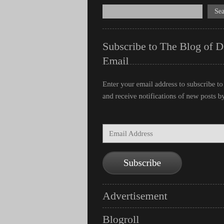Subscribe to The Blog of Death via Email
Enter your email address to subscribe to this blog and receive notifications of new posts by email.
Advertisement
Blogroll